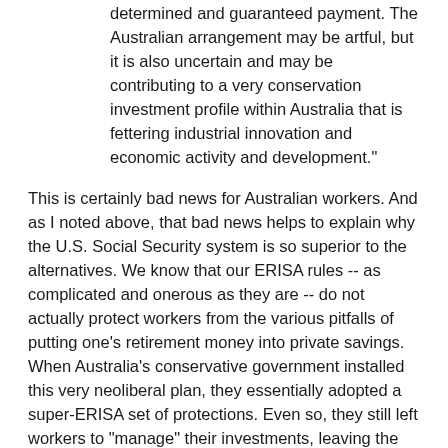determined and guaranteed payment. The Australian arrangement may be artful, but it is also uncertain and may be contributing to a very conservation investment profile within Australia that is fettering industrial innovation and economic activity and development."
This is certainly bad news for Australian workers.  And as I noted above, that bad news helps to explain why the U.S. Social Security system is so superior to the alternatives.  We know that our ERISA rules -- as complicated and onerous as they are -- do not actually protect workers from the various pitfalls of putting one's retirement money into private savings.  When Australia's conservative government installed this very neoliberal plan, they essentially adopted a super-ERISA set of protections.  Even so, they still left workers to "manage" their investments, leaving the risk at the individual level.  Moreover, as the Australian commenter notes, a decent retirement is simply not achievable under this plan.
That is not to say that there couldn't be a system of private accounts that is exactly as I described in Thursday's post.